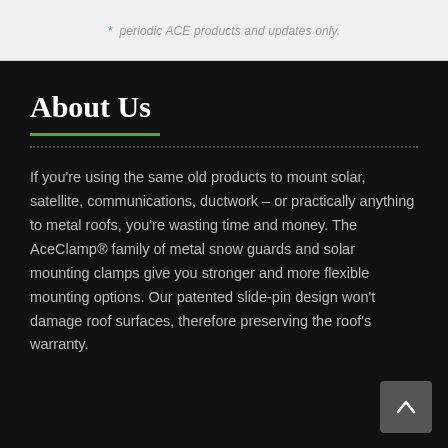* periodic ACE products and updates only.
About Us
If you're using the same old products to mount solar, satellite, communications, ductwork – or practically anything to metal roofs, you're wasting time and money. The AceClamp® family of metal snow guards and solar mounting clamps give you stronger and more flexible mounting options. Our patented slide-pin design won't damage roof surfaces, therefore preserving the roof's warranty.